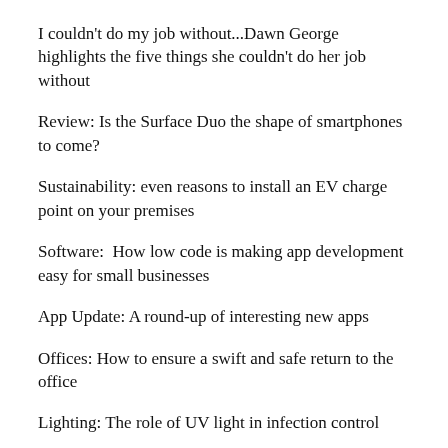I couldn't do my job without...Dawn George highlights the five things she couldn't do her job without
Review: Is the Surface Duo the shape of smartphones to come?
Sustainability: even reasons to install an EV charge point on your premises
Software:  How low code is making app development easy for small businesses
App Update: A round-up of interesting new apps
Offices: How to ensure a swift and safe return to the office
Lighting: The role of UV light in infection control